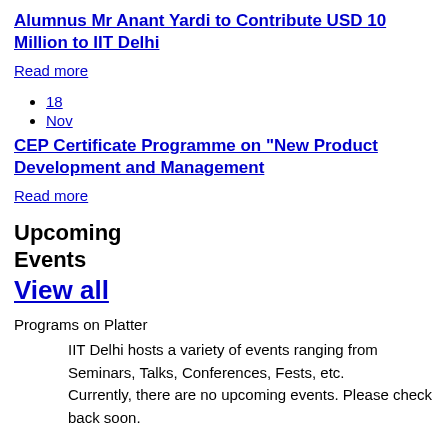Alumnus Mr Anant Yardi to Contribute USD 10 Million to IIT Delhi
Read more
18
Nov
CEP Certificate Programme on "New Product Development and Management
Read more
Upcoming Events View all
Programs on Platter
IIT Delhi hosts a variety of events ranging from Seminars, Talks, Conferences, Fests, etc.
Currently, there are no upcoming events. Please check back soon.